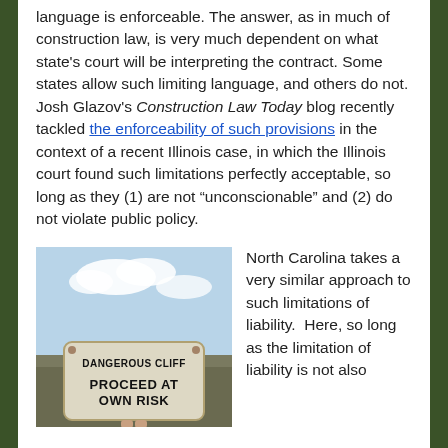language is enforceable.  The answer, as in much of construction law, is very much dependent on what state's court will be interpreting the contract.  Some states allow such limiting language, and others do not.  Josh Glazov's Construction Law Today blog recently tackled the enforceability of such provisions in the context of a recent Illinois case, in which the Illinois court found such limitations perfectly acceptable, so long as they (1) are not "unconscionable" and (2) do not violate public policy.
[Figure (photo): Photo of a warning sign reading 'DANGEROUS CLIFF PROCEED AT OWN RISK' against a blue sky background]
North Carolina takes a very similar approach to such limitations of liability.  Here, so long as the limitation of liability is not also